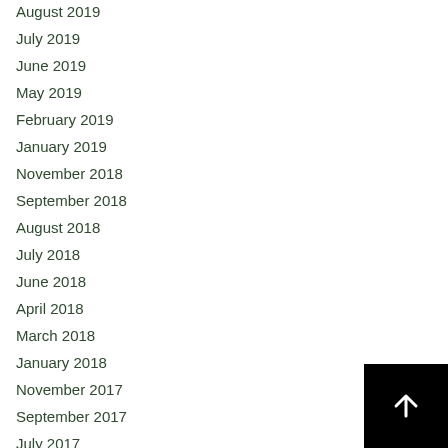August 2019
July 2019
June 2019
May 2019
February 2019
January 2019
November 2018
September 2018
August 2018
July 2018
June 2018
April 2018
March 2018
January 2018
November 2017
September 2017
July 2017
June 2017
April 2017
March 2017